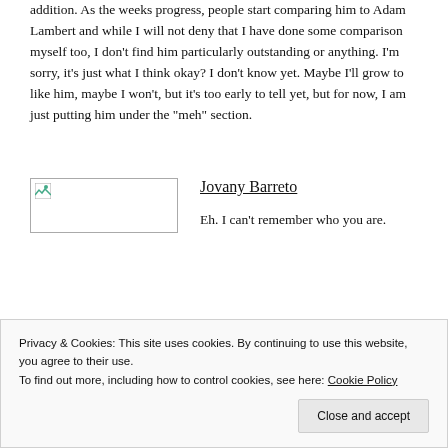addition. As the weeks progress, people start comparing him to Adam Lambert and while I will not deny that I have done some comparison myself too, I don't find him particularly outstanding or anything. I'm sorry, it's just what I think okay? I don't know yet. Maybe I'll grow to like him, maybe I won't, but it's too early to tell yet, but for now, I am just putting him under the "meh" section.
[Figure (photo): Broken/missing image placeholder for Jovany Barreto]
Jovany Barreto
Eh. I can't remember who you are.
Privacy & Cookies: This site uses cookies. By continuing to use this website, you agree to their use.
To find out more, including how to control cookies, see here: Cookie Policy